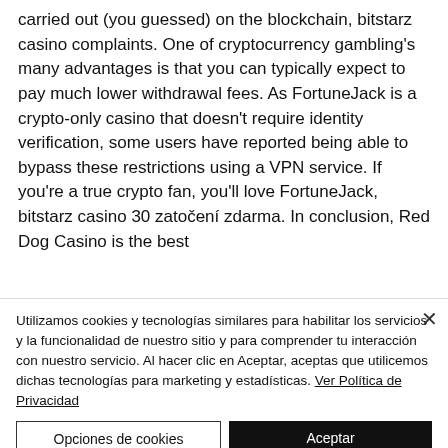carried out (you guessed) on the blockchain, bitstarz casino complaints. One of cryptocurrency gambling's many advantages is that you can typically expect to pay much lower withdrawal fees. As FortuneJack is a crypto-only casino that doesn't require identity verification, some users have reported being able to bypass these restrictions using a VPN service. If you're a true crypto fan, you'll love FortuneJack, bitstarz casino 30 zatočení zdarma. In conclusion, Red Dog Casino is the best
Utilizamos cookies y tecnologías similares para habilitar los servicios y la funcionalidad de nuestro sitio y para comprender tu interacción con nuestro servicio. Al hacer clic en Aceptar, aceptas que utilicemos dichas tecnologías para marketing y estadísticas. Ver Política de Privacidad